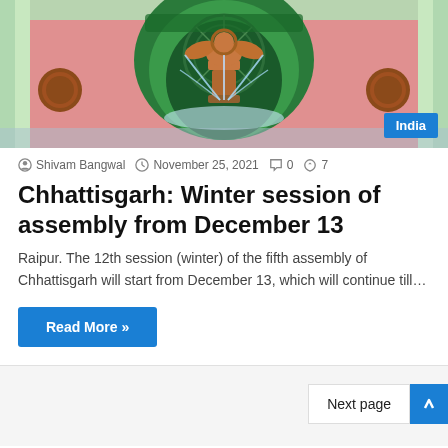[Figure (photo): Photo of a government building with the Ashoka lion capital emblem/fountain in front, pink building with green archway and decorative elements]
Shivam Bangwal  November 25, 2021  0  7
Chhattisgarh: Winter session of assembly from December 13
Raipur. The 12th session (winter) of the fifth assembly of Chhattisgarh will start from December 13, which will continue till…
Read More »
Next page